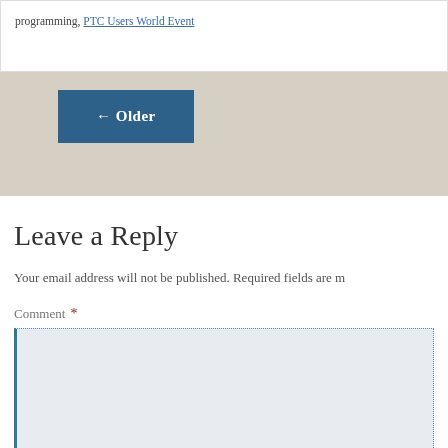programming, PTC Users World Event
← Older
Leave a Reply
Your email address will not be published. Required fields are m
Comment *